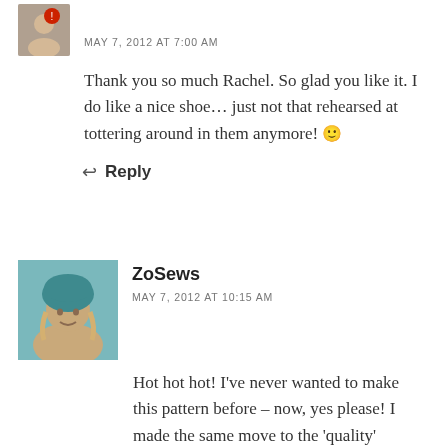[Figure (photo): Small avatar photo of a person with a red circle icon, partially visible at top left]
MAY 7, 2012 AT 7:00 AM
Thank you so much Rachel. So glad you like it. I do like a nice shoe… just not that rehearsed at tottering around in them anymore! 🙂
Reply
[Figure (photo): Avatar photo of ZoSews - a woman wearing a teal/blue knit hat with blonde hair]
ZoSews
MAY 7, 2012 AT 10:15 AM
Hot hot hot! I've never wanted to make this pattern before – now, yes please! I made the same move to the 'quality' fabrics, it's an expensive move, but I'm addicted now and there's no going back! I am in awe though of people who are fabulous 're-fashioners' (is that a word?). Hope your secret audition went well –